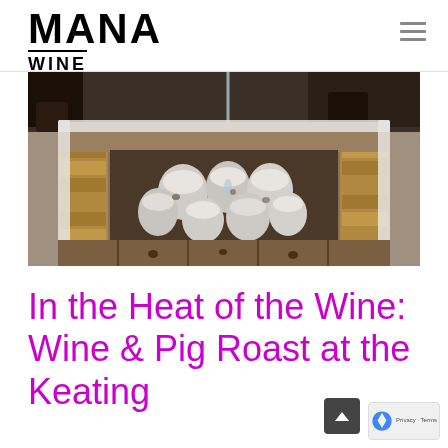MANA WINE
[Figure (photo): Outdoor brick pit containing multiple wrapped clay or salt-crusted packages/pots, viewed from above, with a person's legs visible at top and liquid being poured in.]
In the Heat of the Wine: Wine & Pig Roast at the Keating